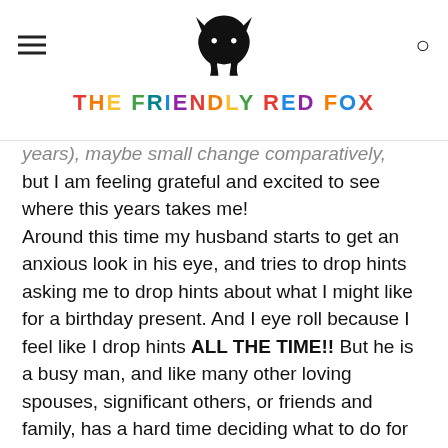THE FRIENDLY RED FOX
years), maybe small change comparatively, but I am feeling grateful and excited to see where this years takes me!
Around this time my husband starts to get an anxious look in his eye, and tries to drop hints asking me to drop hints about what I might like for a birthday present. And I eye roll because I feel like I drop hints ALL THE TIME!! But he is a busy man, and like many other loving spouses, significant others, or friends and family, has a hard time deciding what to do for birthdays (or anniversaries, or Christmas, or...). So I decided, as a favor to my husband and all those out there who get stressed at the gift